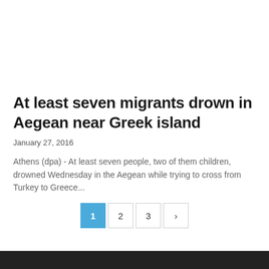At least seven migrants drown in Aegean near Greek island
January 27, 2016
Athens (dpa) - At least seven people, two of them children, drowned Wednesday in the Aegean while trying to cross from Turkey to Greece...